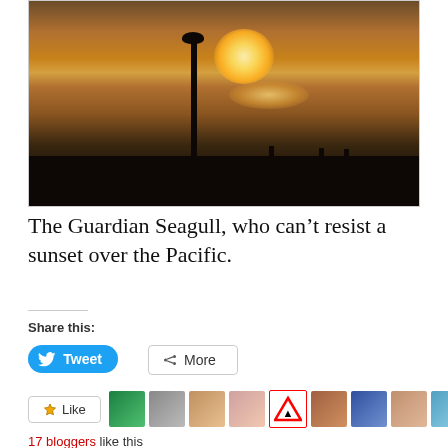[Figure (photo): Sunset photograph over the Pacific ocean showing a silhouetted pole with a seagull on top against an orange and golden sky with the sun visible. Dark silhouetted horizon with small figures visible.]
The Guardian Seagull, who can’t resist a sunset over the Pacific.
Share this:
Tweet
More
Like
17 bloggers like this